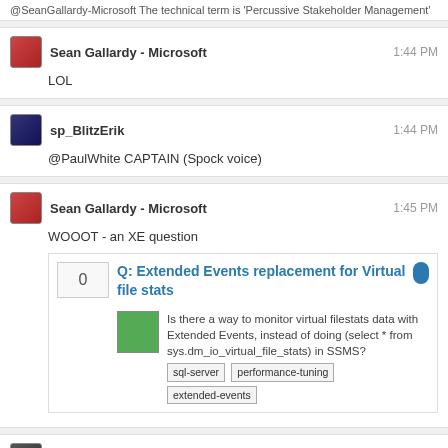@SeanGallardy-Microsoft The technical term is 'Percussive Stakeholder Management'
Sean Gallardy - Microsoft  1:44 PM
LOL
sp_BlitzErik  1:44 PM
@PaulWhite CAPTAIN (Spock voice)
Sean Gallardy - Microsoft  1:45 PM
WOOOT - an XE question
[Figure (screenshot): Embedded Stack Exchange question card: Q: Extended Events replacement for Virtual file stats, score 0, tags: sql-server, performance-tuning, extended-events]
Tom V  1:46 PM
@SeanGallardy-Microsoft Masochist
sp_BlitzErik  1:47 PM
I'm getting ready for that resource semaphore question when I get home from the gym
Paul White  1:48 PM
A: Use fewer resources
sp_BlitzErik  1:49 PM